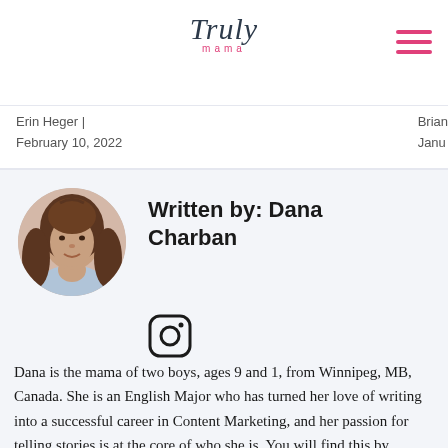Truly mama
Erin Heger | February 10, 2022
Brian
Janu…
[Figure (photo): Circular profile photo of Dana Charban, a woman with long brown hair]
Written by: Dana Charban
[Figure (logo): Instagram icon]
Dana is the mama of two boys, ages 9 and 1, from Winnipeg, MB, Canada. She is an English Major who has turned her love of writing into a successful career in Content Marketing, and her passion for telling stories is at the core of who she is. You will find this by remarking…